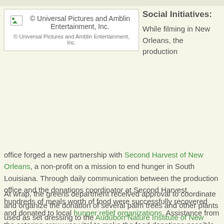[Figure (other): Image placeholder showing copyright notice: © Universal Pictures and Amblin Entertainment, Inc. with smaller text © Universal Pictures and Amblin Entertainment, Inc.]
Social Initiatives:
While filming in New Orleans, the production office forged a new partnership with Second Harvest of New Orleans, a non-profit on a mission to end hunger in South Louisiana. Through daily communication between the production office and the donations coordinator at Second Harvest, hundreds of meals worth of food were successfully recovered and donated to local hunger relief organizations. Assistance from the catering crew was vital to make the food donations possible. At the end of a meal, catering packed up excess prepared food onto disposable trays and handed it off to the receiving agency.
At wrap, the greens department received approval to coordinate and organize the donation of several palm trees and other plants used as set dressing to the Audubon Nature Institute of New Orleans. The donation assisted with the beautification of a local non-profit and kept the plants and trees from entering a landfill.